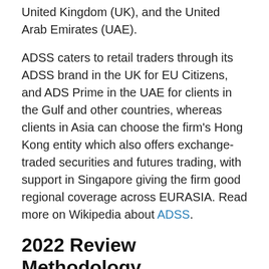United Kingdom (UK), and the United Arab Emirates (UAE).
ADSS caters to retail traders through its ADSS brand in the UK for EU Citizens, and ADS Prime in the UAE for clients in the Gulf and other countries, whereas clients in Asia can choose the firm's Hong Kong entity which also offers exchange-traded securities and futures trading, with support in Singapore giving the firm good regional coverage across EURASIA. Read more on Wikipedia about ADSS.
2022 Review Methodology
For our 2022 Forex Broker Review we